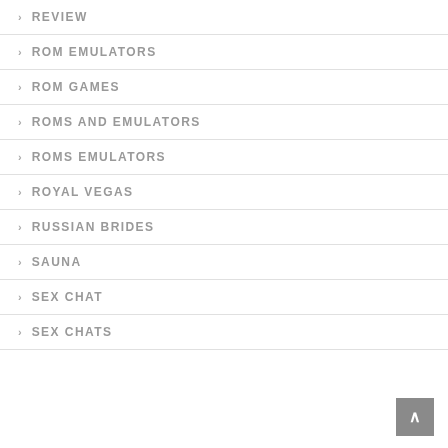REVIEW
ROM EMULATORS
ROM GAMES
ROMS AND EMULATORS
ROMS EMULATORS
ROYAL VEGAS
RUSSIAN BRIDES
SAUNA
SEX CHAT
SEX CHATS